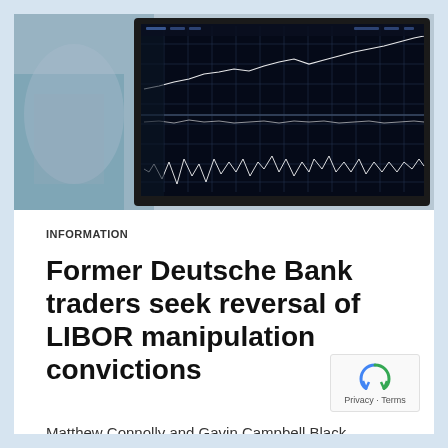[Figure (photo): Close-up photograph of a computer monitor displaying financial trading charts with white grid lines and candlestick/line chart data on a dark background. A blurred hand or person is visible in the background on the left side.]
INFORMATION
Former Deutsche Bank traders seek reversal of LIBOR manipulation convictions
Matthew Connolly and Gavin Campbell Black